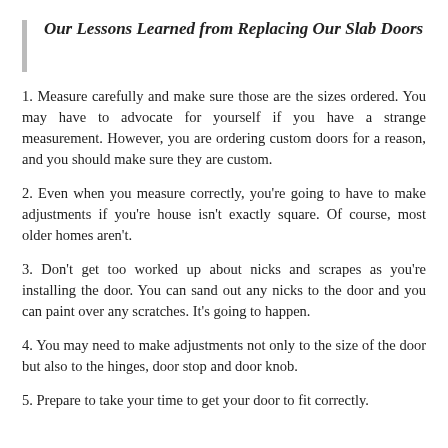Our Lessons Learned from Replacing Our Slab Doors
1. Measure carefully and make sure those are the sizes ordered. You may have to advocate for yourself if you have a strange measurement. However, you are ordering custom doors for a reason, and you should make sure they are custom.
2. Even when you measure correctly, you're going to have to make adjustments if you're house isn't exactly square. Of course, most older homes aren't.
3. Don't get too worked up about nicks and scrapes as you're installing the door. You can sand out any nicks to the door and you can paint over any scratches. It's going to happen.
4. You may need to make adjustments not only to the size of the door but also to the hinges, door stop and door knob.
5. Prepare to take your time to get your door to fit correctly.